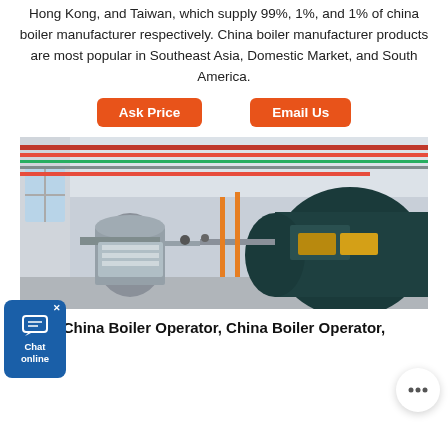Hong Kong, and Taiwan, which supply 99%, 1%, and 1% of china boiler manufacturer respectively. China boiler manufacturer products are most popular in Southeast Asia, Domestic Market, and South America.
Ask Price  Email Us
[Figure (photo): Industrial boiler manufacturing facility showing large cylindrical boilers and pipe systems in a factory setting]
China Boiler Operator, China Boiler Operator